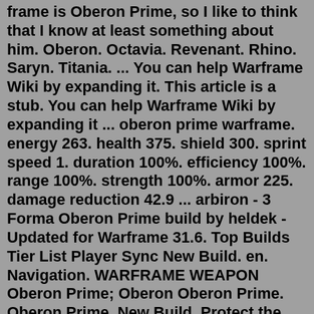frame is Oberon Prime, so I like to think that I know at least something about him. Oberon. Octavia. Revenant. Rhino. Saryn. Titania. ... You can help Warframe Wiki by expanding it. This article is a stub. You can help Warframe Wiki by expanding it ... oberon prime warframe. energy 263. health 375. shield 300. sprint speed 1. duration 100%. efficiency 100%. range 100%. strength 100%. armor 225. damage reduction 42.9 ... arbiron - 3 Forma Oberon Prime build by heldek - Updated for Warframe 31.6. Top Builds Tier List Player Sync New Build. en. Navigation. WARFRAME WEAPON Oberon Prime; Oberon Oberon Prime. Oberon Prime. New Build. Protect the balance with this regal forest guardian. Featuring altered mod polarities for greater customization. Oberon Prime Blueprint. Item Count Source; Oberon Prime Neuroptics. 1: Lith O1 Relic (Radiant) 10.00 % Meso O1 Relic (Radiant)Mar 22, 2021 · Oberon is an excellent Warframe for players who want to be able to sustain themselves and their allies, while also dishing out area-of-effect damage. To